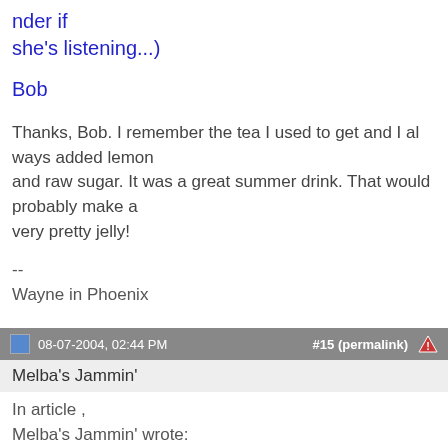nder if she's listening...)
Bob
Thanks, Bob. I remember the tea I used to get and I always added lemon and raw sugar. It was a great summer drink. That would probably make a very pretty jelly!
--
Wayne in Phoenix

If there's a nit to pick, some nitwit will pick it.
08-07-2004, 02:44 PM    #15 (permalink)
Melba's Jammin'
In article ,
Melba's Jammin' wrote: